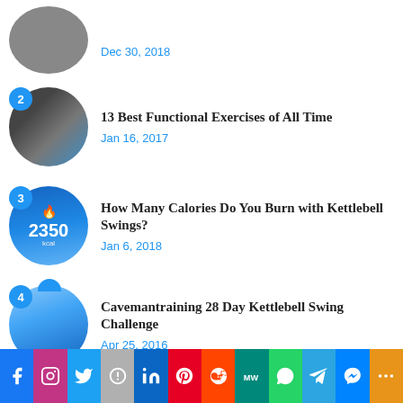[Figure (photo): Circular thumbnail image of a person, partially cropped at top. Date: Dec 30, 2018 shown next to it.]
Dec 30, 2018
[Figure (photo): Circular thumbnail #2 with badge '2' - fitness/exercise related image with text overlay. Article: 13 Best Functional Exercises of All Time, Jan 16, 2017]
13 Best Functional Exercises of All Time
Jan 16, 2017
[Figure (photo): Circular thumbnail #3 with badge '3' - kettlebell calories image showing 2350 kcal. Article: How Many Calories Do You Burn with Kettlebell Swings?, Jan 6, 2018]
How Many Calories Do You Burn with Kettlebell Swings?
Jan 6, 2018
[Figure (photo): Circular thumbnail #4 with badge '4' - blue sky/outdoor kettlebell image. Article: Cavemantraining 28 Day Kettlebell Swing Challenge, Apr 25, 2016]
Cavemantraining 28 Day Kettlebell Swing Challenge
Apr 25, 2016
[Figure (infographic): Social sharing bar with icons: Facebook, Instagram, Twitter, Parler, LinkedIn, Pinterest, Reddit, MeWe, WhatsApp, Telegram, Messenger, More]